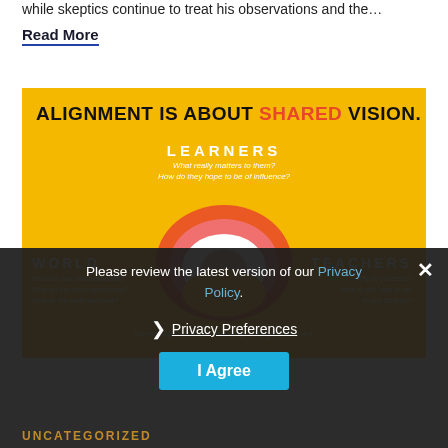while skeptics continue to treat his observations and the…
Read More
[Figure (infographic): Infographic on yellow background titled 'ALIGNMENT IS ABOUT SHARED VISION.' with three labels: LEARNERS (center top), WORLD (left), TEACHERS (right), and a rainbow/circle icon in the center.]
Please review the latest version of our Privacy Policy.
❯ Privacy Preferences
I Agree
UNCATEGORIZED